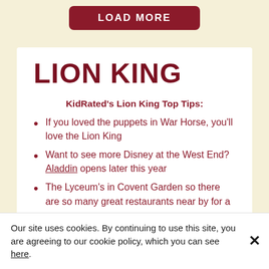[Figure (other): LOAD MORE button in dark red/maroon rounded rectangle]
LION KING
KidRated's Lion King Top Tips:
If you loved the puppets in War Horse, you'll love the Lion King
Want to see more Disney at the West End? Aladdin opens later this year
The Lyceum's in Covent Garden so there are so many great restaurants near by for a
Our site uses cookies. By continuing to use this site, you are agreeing to our cookie policy, which you can see here.